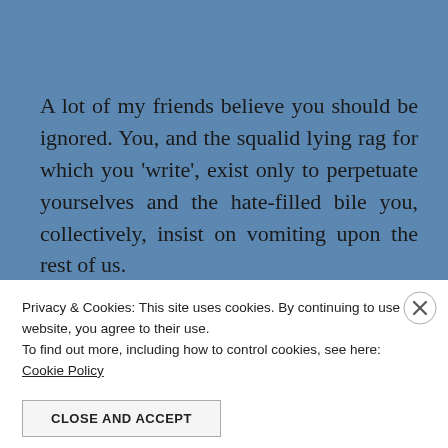A lot of my friends believe you should be ignored. You, and the squalid lying rag for which you ‘write’, exist only to perpetuate yourselves and the hate-filled bile you, collectively, insist on vomiting upon the rest of us.

I have, hitherto, agreed. I don’t follow you on Twitter, I certainly don’t read the demented ravings you excrete on a depressingly regular basis and ignoring
Privacy & Cookies: This site uses cookies. By continuing to use this website, you agree to their use.
To find out more, including how to control cookies, see here:
Cookie Policy
CLOSE AND ACCEPT